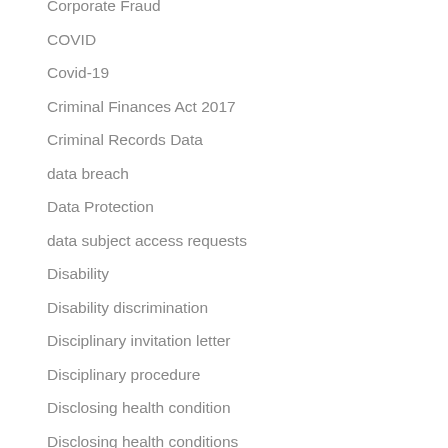Corporate Fraud
COVID
Covid-19
Criminal Finances Act 2017
Criminal Records Data
data breach
Data Protection
data subject access requests
Disability
Disability discrimination
Disciplinary invitation letter
Disciplinary procedure
Disclosing health condition
Disclosing health conditions
Disclosure